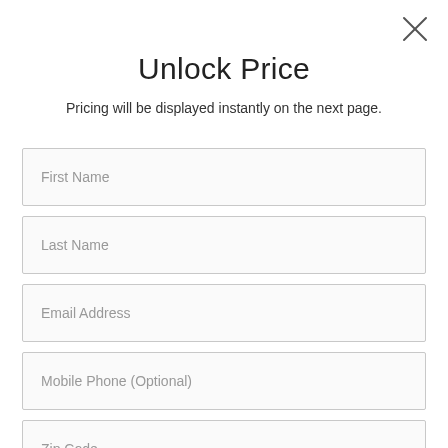[Figure (other): Close button X in top right corner]
Unlock Price
Pricing will be displayed instantly on the next page.
First Name
Last Name
Email Address
Mobile Phone (Optional)
Zip Code